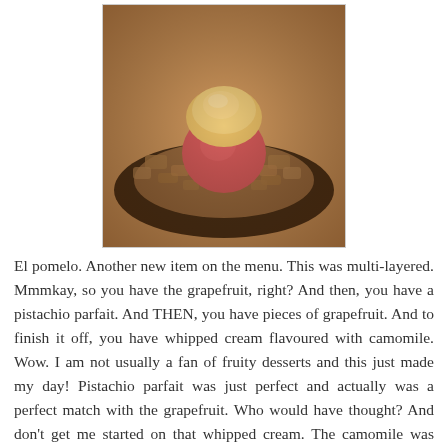[Figure (photo): A food photo showing El pomelo dessert: a dessert with grapefruit, pistachio parfait, pieces of grapefruit, and whipped cream flavoured with camomile, served on a dark plate with crushed ice around a pink/red mousse topped with yellow cream, photographed with warm Instagram-style filter.]
El pomelo. Another new item on the menu. This was multi-layered. Mmmkay, so you have the grapefruit, right? And then, you have a pistachio parfait. And THEN, you have pieces of grapefruit. And to finish it off, you have whipped cream flavoured with camomile. Wow. I am not usually a fan of fruity desserts and this just made my day! Pistachio parfait was just perfect and actually was a perfect match with the grapefruit. Who would have thought? And don't get me started on that whipped cream. The camomile was subtle...